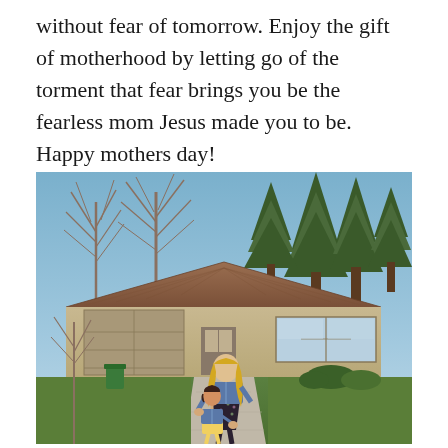without fear of tomorrow. Enjoy the gift of motherhood by letting go of the torment that fear brings you be the fearless mom Jesus made you to be. Happy mothers day!
[Figure (photo): A woman with long blonde hair wearing a denim jacket over a floral dress stands on a driveway in front of a single-story suburban house, holding hands with a small child also wearing a denim jacket. The yard has green grass, bare deciduous trees, and evergreen trees in the background under a blue sky.]